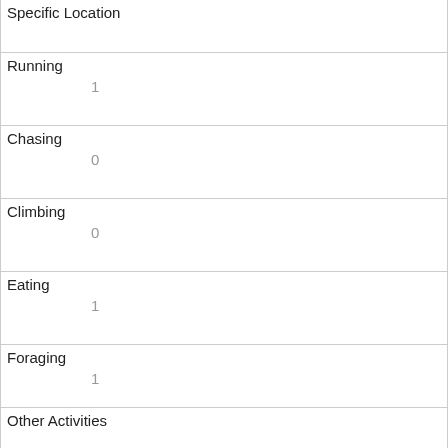| Field | Value |
| --- | --- |
| Specific Location |  |
| Running | 1 |
| Chasing | 0 |
| Climbing | 0 |
| Eating | 1 |
| Foraging | 1 |
| Other Activities |  |
| Kuks | 0 |
| Quaas | 0 |
| Moans | 0 |
| Tail flags |  |